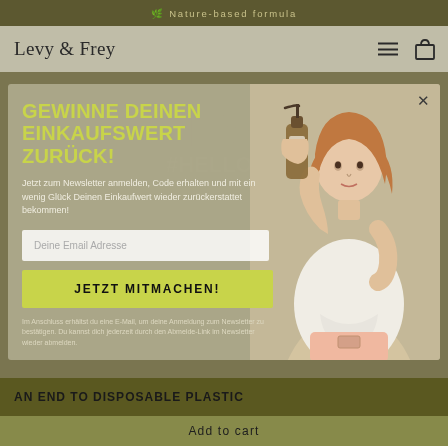🌿 Nature-based formula
[Figure (screenshot): Levy & Frey website header with logo, hamburger menu and bag icon on a beige/tan background]
[Figure (screenshot): Modal popup overlay on e-commerce website with yellow-green title 'GEWINNE DEINEN EINKAUFSWERT ZURÜCK!', subtitle text, email input field, yellow-green CTA button 'JETZT MITMACHEN!', and a product/person photo on the right side]
GEWINNE DEINEN EINKAUFSWERT ZURÜCK!
Jetzt zum Newsletter anmelden, Code erhalten und mit ein wenig Glück Deinen Einkaufwert wieder zurückerstattet bekommen!
Deine Email Adresse
JETZT MITMACHEN!
Im Anschluss erhältst du eine E-Mail, um deine Anmeldung zum Newsletter zu bestätigen. Du kannst dich jederzeit durch den Abmelde-Link im Newsletter wieder abmelden.
AN END TO DISPOSABLE PLASTIC
Add to cart